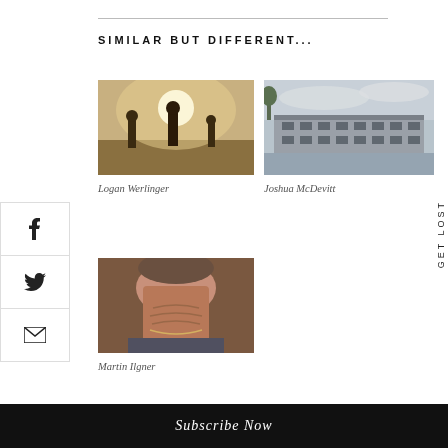SIMILAR BUT DIFFERENT...
[Figure (photo): Three people standing in a field at golden hour, silhouetted against bright sunlight]
Logan Werlinger
[Figure (photo): A flooded industrial building reflected in standing water, overcast sky]
Joshua McDevitt
[Figure (photo): Close-up of the back of an elderly person's neck and head, showing wrinkled skin and a necklace]
Martin Ilgner
Subscribe Now